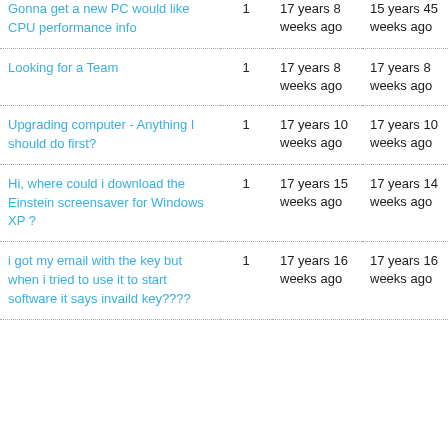| Topic | Replies | Created | Last Reply |
| --- | --- | --- | --- |
| Gonna get a new PC would like CPU performance info | 1 | 17 years 8 weeks ago | 15 years 45 weeks ago |
| Looking for a Team | 1 | 17 years 8 weeks ago | 17 years 8 weeks ago |
| Upgrading computer - Anything I should do first? | 1 | 17 years 10 weeks ago | 17 years 10 weeks ago |
| Hi, where could i download the Einstein screensaver for Windows XP ? | 1 | 17 years 15 weeks ago | 17 years 14 weeks ago |
| i got my email with the key but when i tried to use it to start software it says invaild key???? | 1 | 17 years 16 weeks ago | 17 years 16 weeks ago |